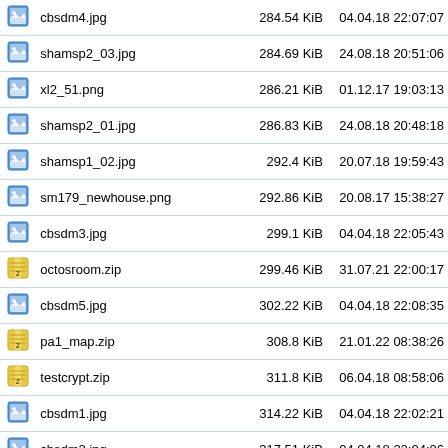|  | Name | Size | Date |
| --- | --- | --- | --- |
| [img] | cbsdm4.jpg | 284.54 KiB | 04.04.18 22:07:07 |
| [img] | shamsp2_03.jpg | 284.69 KiB | 24.08.18 20:51:06 |
| [img] | xl2_51.png | 286.21 KiB | 01.12.17 19:03:13 |
| [img] | shamsp2_01.jpg | 286.83 KiB | 24.08.18 20:48:18 |
| [img] | shamsp1_02.jpg | 292.4 KiB | 20.07.18 19:59:43 |
| [img] | sm179_newhouse.png | 292.86 KiB | 20.08.17 15:38:27 |
| [img] | cbsdm3.jpg | 299.1 KiB | 04.04.18 22:05:43 |
| [zip] | octosroom.zip | 299.46 KiB | 31.07.21 22:00:17 |
| [img] | cbsdm5.jpg | 302.22 KiB | 04.04.18 22:08:35 |
| [zip] | pa1_map.zip | 308.8 KiB | 21.01.22 08:38:26 |
| [zip] | testcrypt.zip | 311.8 KiB | 06.04.18 08:58:06 |
| [img] | cbsdm1.jpg | 314.22 KiB | 04.04.18 22:02:21 |
| [img] | cbsdm2.jpg | 317.51 KiB | 04.04.18 22:04:06 |
| [pdf] | Khreathor_NewHouse_
Quake_Lighting_Info.pdf | 331.27 KiB | 07.04.18 23:31:29 |
| [img] | xl2_52.png | 341.21 KiB | 01.12.17 19:07:42 |
| [img] | sinister625_spasm0000.
png | 346.95 KiB | 08.08.21 13:24:37 |
| [img] | shamsp1_01.jpg | 348.88 KiB | 20.07.18 19:58:08 |